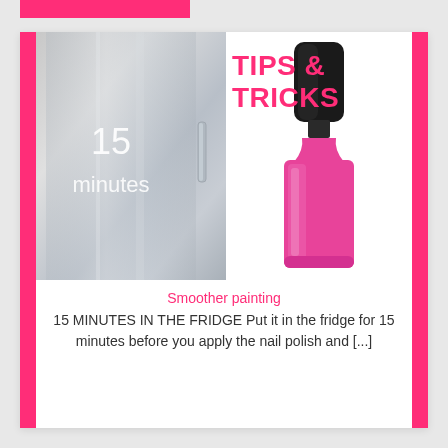[Figure (photo): A card-style layout showing a stainless steel refrigerator door with '15 minutes' text overlay on the left, a pink nail polish bottle on the right, and 'TIPS & TRICKS' in pink text upper right.]
Smoother painting
15 MINUTES IN THE FRIDGE Put it in the fridge for 15 minutes before you apply the nail polish and [...]